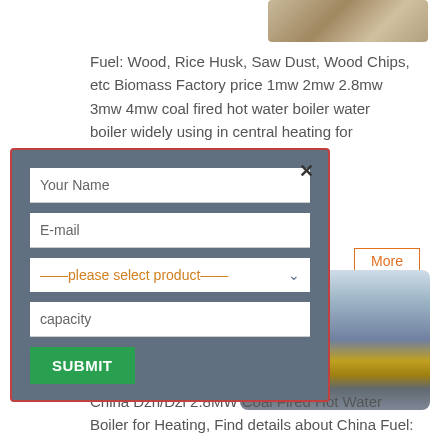[Figure (photo): Partial view of industrial equipment or boiler machinery, top right corner]
Fuel: Wood, Rice Husk, Saw Dust, Wood Chips, etc Biomass Factory price 1mw 2mw 2.8mw 3mw 4mw coal fired hot water boiler water boiler widely using in central heating for [house,home,or...]
[Figure (screenshot): A modal form popup with fields: Your Name, E-mail, please select product dropdown, capacity, and a SUBMIT button. Modal has a dark blue-grey background with red border and an X close button.]
More
[Figure (photo): Interior of an industrial factory/workshop showing overhead crane beams, industrial equipment and large pipes on the factory floor.]
for Heating
China Dzh/Dzl 2.8MW Coal Fired Hot Water Boiler for Heating, Find details about China Fuel: